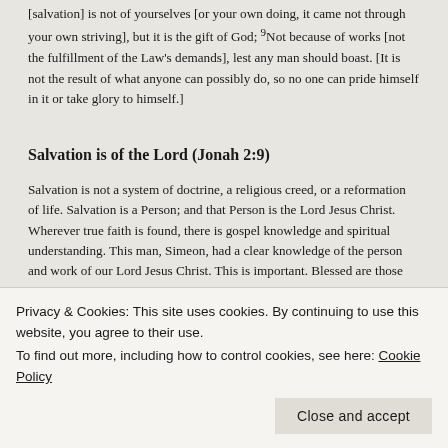[salvation] is not of yourselves [or your own doing, it came not through your own striving], but it is the gift of God; 9Not because of works [not the fulfillment of the Law's demands], lest any man should boast. [It is not the result of what anyone can possibly do, so no one can pride himself in it or take glory to himself.]
Salvation is of the Lord (Jonah 2:9)
Salvation is not a system of doctrine, a religious creed, or a reformation of life. Salvation is a Person; and that Person is the Lord Jesus Christ. Wherever true faith is found, there is gospel knowledge and spiritual understanding. This man, Simeon, had a clear knowledge of the person and work of our Lord Jesus Christ. This is important. Blessed are those who are thus taught of God (Isaiah 54:11-14; John 6:45). Faith in Christ is not a leap in the dark. It is confidence based upon the revelation of God. It is the result of
Privacy & Cookies: This site uses cookies. By continuing to use this website, you agree to their use.
To find out more, including how to control cookies, see here: Cookie Policy